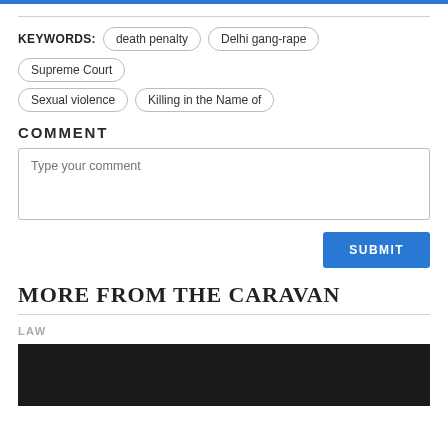KEYWORDS: death penalty | Delhi gang-rape | Supreme Court | Sexual violence | Killing in the Name of
COMMENT
Type your comment
SUBMIT
MORE FROM THE CARAVAN
LAW
[Figure (photo): Dark/black image placeholder for an article photo]